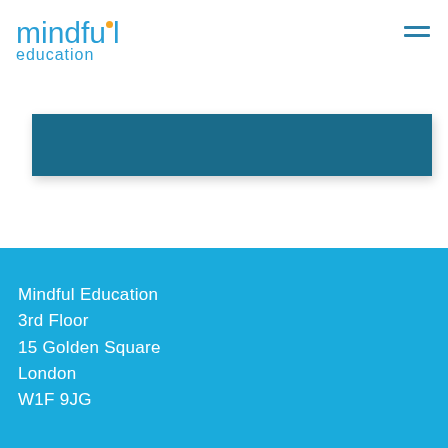[Figure (logo): Mindful Education logo - 'mindful' in light blue with orange dot over the 'i', 'education' in light blue below]
[Figure (other): Hamburger menu icon - three horizontal dark blue lines in top right corner]
[Figure (other): Dark teal/navy horizontal banner rectangle]
Mindful Education
3rd Floor
15 Golden Square
London
W1F 9JG